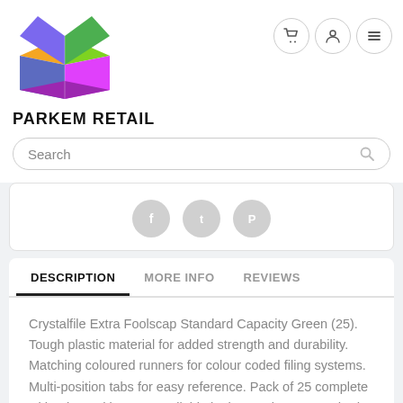[Figure (logo): Parkem Retail logo: colorful open box with orange, green, purple, blue, and pink panels with geometric design]
PARKEM RETAIL
[Figure (other): Navigation icons: shopping cart, user/account, and hamburger menu buttons in circular outlines]
[Figure (other): Search bar with placeholder text 'Search' and magnifying glass icon]
[Figure (other): Social sharing icons: Facebook, Twitter, Pinterest in gray circles]
DESCRIPTION
MORE INFO
REVIEWS
Crystalfile Extra Foolscap Standard Capacity Green (25). Tough plastic material for added strength and durability. Matching coloured runners for colour coded filing systems. Multi-position tabs for easy reference. Pack of 25 complete with tabs and inserts. Available in three colours. Standard